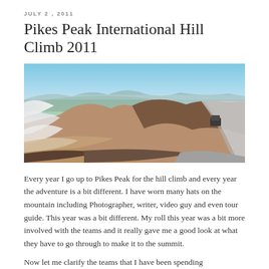JULY 2, 2011
Pikes Peak International Hill Climb 2011
[Figure (photo): Wide panoramic photograph taken near the summit of Pikes Peak showing a sweeping mountain landscape with snow patches on the left, a winding road on the right with a vehicle visible, and a vast plain visible far below under a clear blue sky.]
Every year I go up to Pikes Peak for the hill climb and every year the adventure is a bit different. I have worn many hats on the mountain including Photographer, writer, video guy and even tour guide. This year was a bit different. My roll this year was a bit more involved with the teams and it really gave me a good look at what they have to go through to make it to the summit.
Now let me clarify the teams that I have been spending…